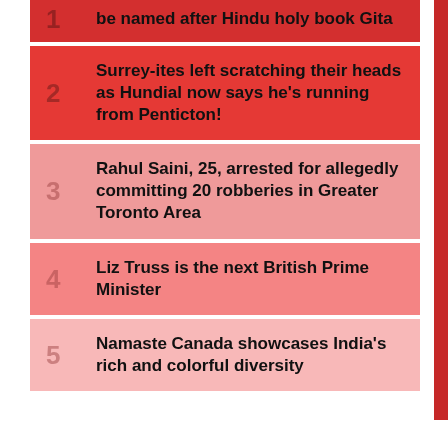1 be named after Hindu holy book Gita
2 Surrey-ites left scratching their heads as Hundial now says he's running from Penticton!
3 Rahul Saini, 25, arrested for allegedly committing 20 robberies in Greater Toronto Area
4 Liz Truss is the next British Prime Minister
5 Namaste Canada showcases India's rich and colorful diversity